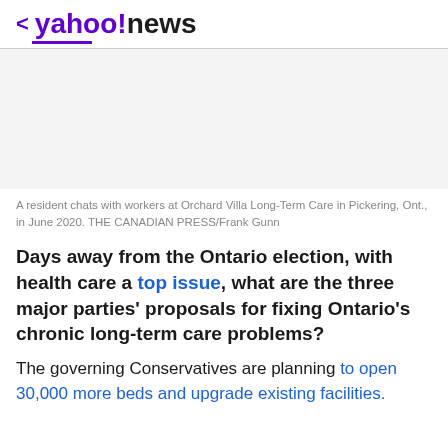< yahoo!news
[Figure (photo): Placeholder/blank image area representing a photo of a resident chatting with workers at Orchard Villa Long-Term Care in Pickering, Ont., in June 2020.]
A resident chats with workers at Orchard Villa Long-Term Care in Pickering, Ont., in June 2020. THE CANADIAN PRESS/Frank Gunn
Days away from the Ontario election, with health care a top issue, what are the three major parties' proposals for fixing Ontario's chronic long-term care problems?
The governing Conservatives are planning to open 30,000 more beds and upgrade existing facilities.